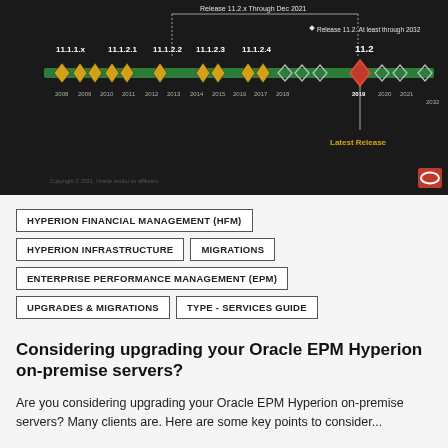[Figure (infographic): Oracle EPM Hyperion release timeline from 2008 to 2032, showing versions 11.1.1.x through 11.2 on a horizontal green line with diamond markers. Labels include Release 11.2.x Through Dec 2021, Release 11.2: At least through 2032, Latest Release marker at 2019 (version 11.2), and a copyright notice. Oracle logo in bottom-right corner.]
HYPERION FINANCIAL MANAGEMENT (HFM)
HYPERION INFRASTRUCTURE
MIGRATIONS
ENTERPRISE PERFORMANCE MANAGEMENT (EPM)
UPGRADES & MIGRATIONS
TYPE - SERVICES GUIDE
Considering upgrading your Oracle EPM Hyperion on-premise servers?
Are you considering upgrading your Oracle EPM Hyperion on-premise servers? Many clients are. Here are some key points to consider...